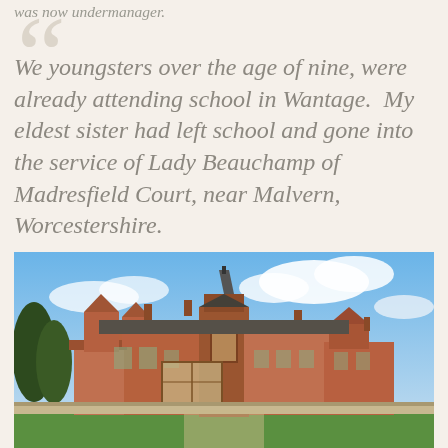was now undermanager.
We youngsters over the age of nine, were already attending school in Wantage.  My eldest sister had left school and gone into the service of Lady Beauchamp of Madresfield Court, near Malvern, Worcestershire.
[Figure (photo): Photograph of Madresfield Court, a large Victorian Gothic red-brick manor house with a central spire, set against a blue sky with clouds, with green lawn in the foreground.]